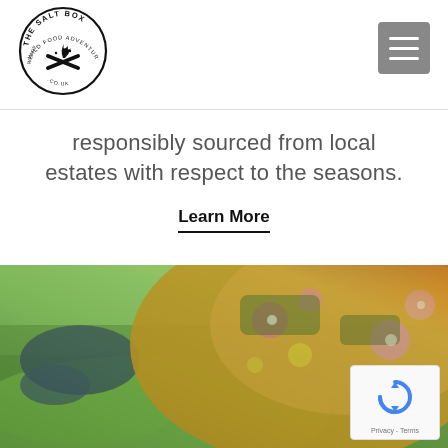[Figure (logo): The Salt Box Wild Food Adventures circular logo with campfire in the center]
[Figure (other): Hamburger menu button (three white lines on grey background)]
responsibly sourced from local estates with respect to the seasons.
Learn More
[Figure (photo): Person in floral orange dress picking something from green mossy ground, outdoors]
[Figure (other): reCAPTCHA badge with Privacy - Terms text]